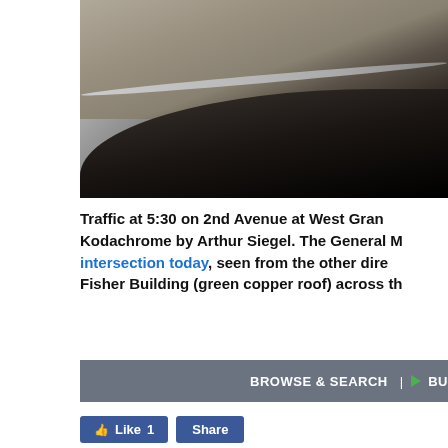[Figure (photo): Aerial photograph of a city street intersection, showing a curved road with a wide pavement area, street lamps casting shadows, and pedestrians visible along the curb. Dark road surface curves from upper left to lower right.]
Traffic at 5:30 on 2nd Avenue at West Grand Kodachrome by Arthur Siegel. The General M intersection today, seen from the other dire Fisher Building (green copper roof) across th
BROWSE & SEARCH | ► BU
Like 1  Share